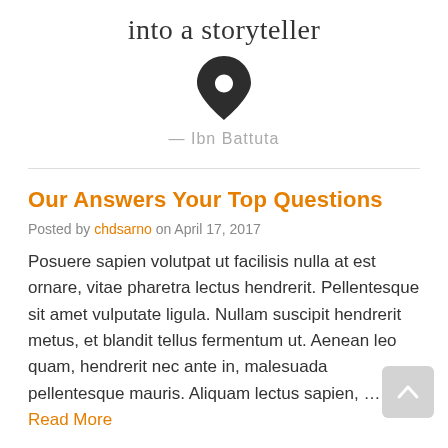into a storyteller
[Figure (illustration): Black map pin / location marker icon]
— Ibn Battuta
Our Answers Your Top Questions
Posted by chdsarno on April 17, 2017
Posuere sapien volutpat ut facilisis nulla at est ornare, vitae pharetra lectus hendrerit. Pellentesque sit amet vulputate ligula. Nullam suscipit hendrerit metus, et blandit tellus fermentum ut. Aenean leo quam, hendrerit nec ante in, malesuada pellentesque mauris. Aliquam lectus sapien, … Read More